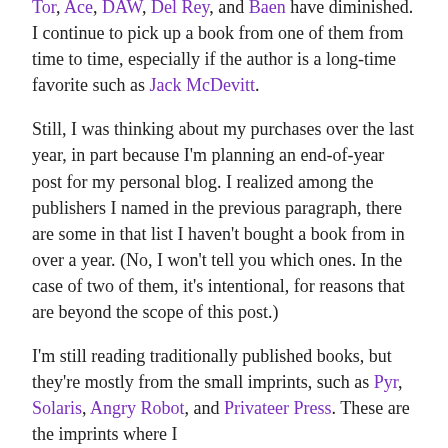Tor, Ace, DAW, Del Rey, and Baen have diminished. I continue to pick up a book from one of them from time to time, especially if the author is a long-time favorite such as Jack McDevitt.
Still, I was thinking about my purchases over the last year, in part because I'm planning an end-of-year post for my personal blog. I realized among the publishers I named in the previous paragraph, there are some in that list I haven't bought a book from in over a year. (No, I won't tell you which ones. In the case of two of them, it's intentional, for reasons that are beyond the scope of this post.)
I'm still reading traditionally published books, but they're mostly from the small imprints, such as Pyr, Solaris, Angry Robot, and Privateer Press. These are the imprints where I